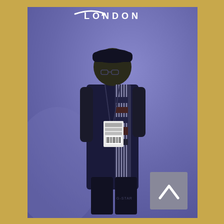[Figure (photo): A person standing in front of a purple/blue branded backdrop with 'LONDON' text and a curved logo (resembling Amazon). The person is wearing a dark outfit with a patterned scarf/stole, a cap, glasses, and a conference lanyard/badge. A grey scroll-to-top button with a chevron icon is visible in the lower right corner. The entire image has a golden/tan border frame.]